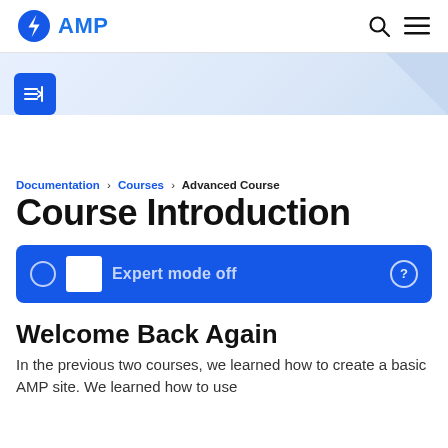AMP
[Figure (other): Light blue gradient banner header area with a diagonal cut on the right side]
[Figure (other): Blue square button with right-arrow-to-bar icon (sidebar toggle)]
Documentation > Courses > Advanced Course
Course Introduction
[Figure (other): Blue expert mode toggle bar with circle icon, white square, 'Expert mode off' label and question mark icon]
Welcome Back Again
In the previous two courses, we learned how to create a basic AMP site. We learned how to use